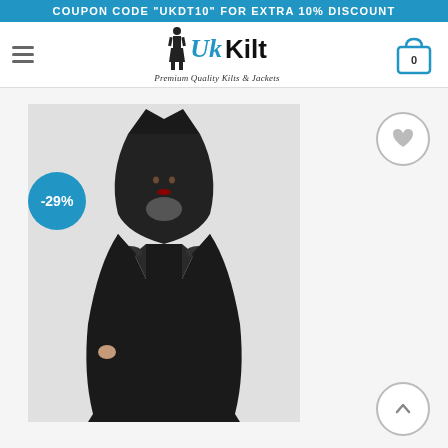COUPON CODE "UKDT10" FOR EXTRA 10% DISCOUNT
[Figure (logo): UK Kilt logo with figure of person in kilt, text 'Uk Kilt Premium Quality Kilts & Jackets']
[Figure (photo): Woman wearing a long black gothic hooded coat with peaked hood and decorative shoulder details, shown against a light background. A -29% discount badge is shown in the lower left of the image.]
[Figure (illustration): Wishlist heart icon button (circular outline)]
[Figure (illustration): Scroll to top arrow button (circular outline with upward chevron)]